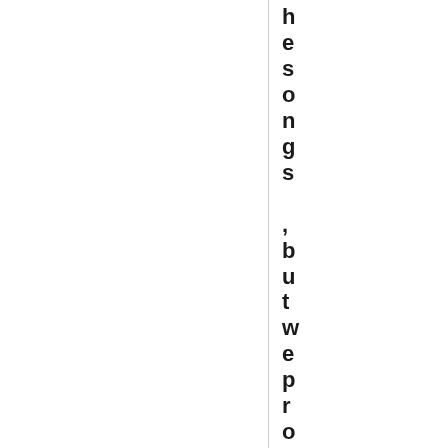hesongs ,butwe probablyinventedK